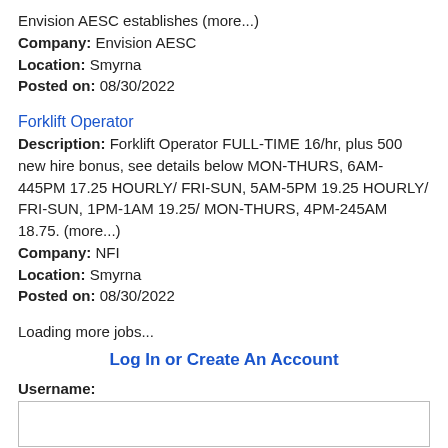Envision AESC establishes (more...)
Company: Envision AESC
Location: Smyrna
Posted on: 08/30/2022
Forklift Operator
Description: Forklift Operator FULL-TIME 16/hr, plus 500 new hire bonus, see details below MON-THURS, 6AM-445PM 17.25 HOURLY/ FRI-SUN, 5AM-5PM 19.25 HOURLY/ FRI-SUN, 1PM-1AM 19.25/ MON-THURS, 4PM-245AM 18.75. (more...)
Company: NFI
Location: Smyrna
Posted on: 08/30/2022
Loading more jobs...
Log In or Create An Account
Username: